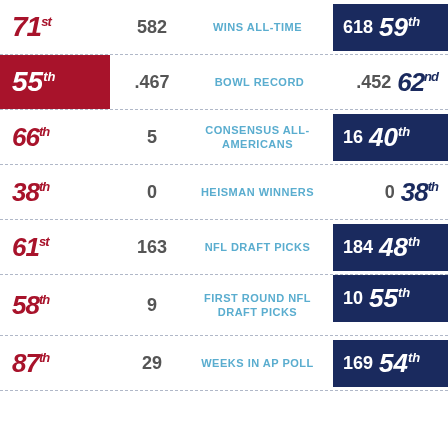| Rank (Left) | Value (Left) | Category | Value (Right) | Rank (Right) |
| --- | --- | --- | --- | --- |
| 71st | 582 | WINS ALL-TIME | 618 | 59th |
| 55th | .467 | BOWL RECORD | .452 | 62nd |
| 66th | 5 | CONSENSUS ALL-AMERICANS | 16 | 40th |
| 38th | 0 | HEISMAN WINNERS | 0 | 38th |
| 61st | 163 | NFL DRAFT PICKS | 184 | 48th |
| 58th | 9 | FIRST ROUND NFL DRAFT PICKS | 10 | 55th |
| 87th | 29 | WEEKS IN AP POLL | 169 | 54th |